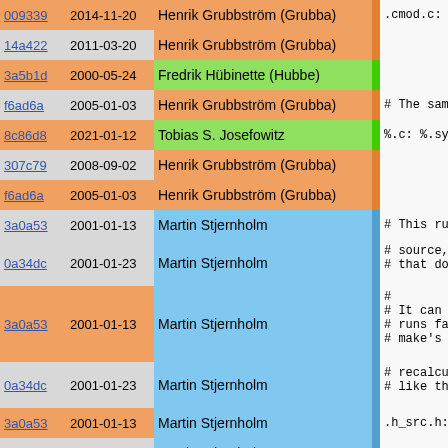| hash | date | author |  | code |
| --- | --- | --- | --- | --- |
| 009339 | 2014-11-20 | Henrik Grubbström (Grubba) |  | .cmod.c: |
| 14a422 | 2011-03-20 | Henrik Grubbström (Grubba) |  | ./p |
| 3a5b1d | 2000-05-24 | Fredrik Hübinette (Hubbe) |  |  |
| f6ad6a | 2005-01-03 | Henrik Grubbström (Grubba) |  | # The same a |
| 8c86d8 | 2021-01-12 | Tobias S. Josefowitz |  | %.c: %.syml |
| 307c79 | 2008-09-02 | Henrik Grubbström (Grubba) |  | ./p |
| f6ad6a | 2005-01-03 | Henrik Grubbström (Grubba) |  |  |
| 3a0a53 | 2001-01-13 | Martin Stjernholm |  | # This rule |
| 0a34dc | 2001-01-23 | Martin Stjernholm |  | # source, to
# that doesn |
| 3a0a53 | 2001-01-13 | Martin Stjernholm |  | #
# It can cau
# runs fast
# make's tha |
| 0a34dc | 2001-01-23 | Martin Stjernholm |  | # recalculat
# like that |
| 3a0a53 | 2001-01-13 | Martin Stjernholm |  | .h_src.h: |
| 0a34dc | 2001-01-23 | Martin Stjernholm |  | @if |
| c1e41d | 2003-10-13 | Martin Stjernholm |  | te |